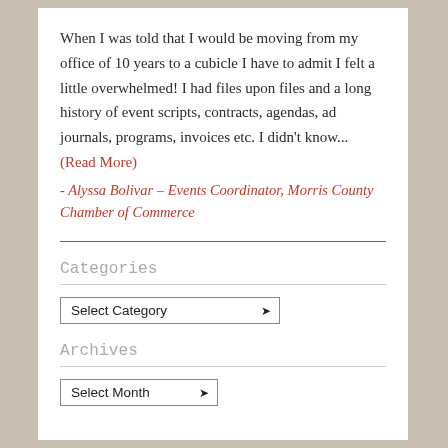When I was told that I would be moving from my office of 10 years to a cubicle I have to admit I felt a little overwhelmed! I had files upon files and a long history of event scripts, contracts, agendas, ad journals, programs, invoices etc. I didn't know... (Read More)
- Alyssa Bolivar – Events Coordinator, Morris County Chamber of Commerce
Categories
Archives